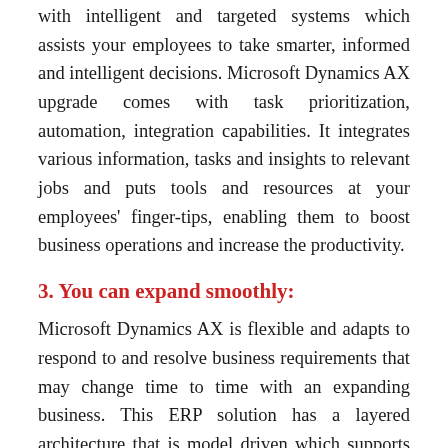with intelligent and targeted systems which assists your employees to take smarter, informed and intelligent decisions. Microsoft Dynamics AX upgrade comes with task prioritization, automation, integration capabilities. It integrates various information, tasks and insights to relevant jobs and puts tools and resources at your employees' finger-tips, enabling them to boost business operations and increase the productivity.
3. You can expand smoothly:
Microsoft Dynamics AX is flexible and adapts to respond to and resolve business requirements that may change time to time with an expanding business. This ERP solution has a layered architecture that is model driven which supports the development and